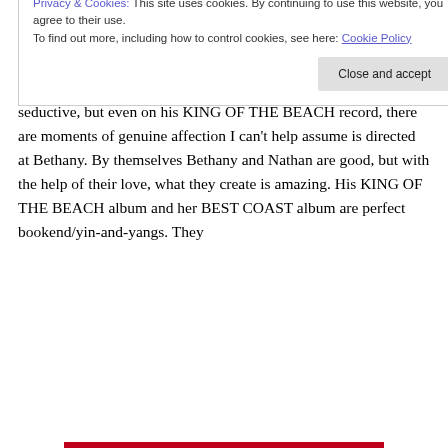these two people, a stoner-skater boi and a cool-ass artist chick, would need each other so much is as startling as it is pedestrian. In a way they're like an indie version of Romeo and Juliet. Whereas his music is brash and defiant, her's is wistful and seductive, but even on his KING OF THE BEACH record, there are moments of genuine affection I can't help assume is directed at Bethany. By themselves Bethany and Nathan are good, but with the help of their love, what they create is amazing. His KING OF THE BEACH album and her BEST COAST album are perfect bookend/yin-and-yangs. They
Privacy & Cookies: This site uses cookies. By continuing to use this website, you agree to their use. To find out more, including how to control cookies, see here: Cookie Policy